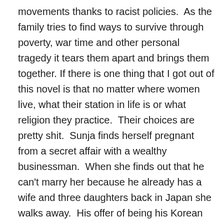movements thanks to racist policies.  As the family tries to find ways to survive through poverty, war time and other personal tragedy it tears them apart and brings them together. If there is one thing that I got out of this novel is that no matter where women live, what their station in life is or what religion they practice.  Their choices are pretty shit.  Sunja finds herself pregnant from a secret affair with a wealthy businessman.  When she finds out that he can't marry her because he already has a wife and three daughters back in Japan she walks away.  His offer of being his Korean wife and him buying her house and taken care of her is not enough.  She will never be his true wife but also being an unwed mother will bring shame on her and her family.  When a young pastor falls ill in her family's boardinghouse, she and her mother help him get better.  Isek is convinced he was sent to them on purpose